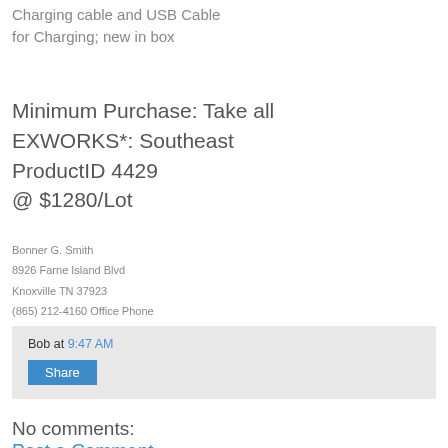Charging cable and USB Cable for Charging; new in box
Minimum Purchase: Take all EXWORKS*: Southeast ProductID 4429 @ $1280/Lot
Bonner G. Smith
8926 Farne Island Blvd
Knoxville TN 37923
(865) 212-4160 Office Phone
Bob at 9:47 AM
Share
No comments:
Post a Comment